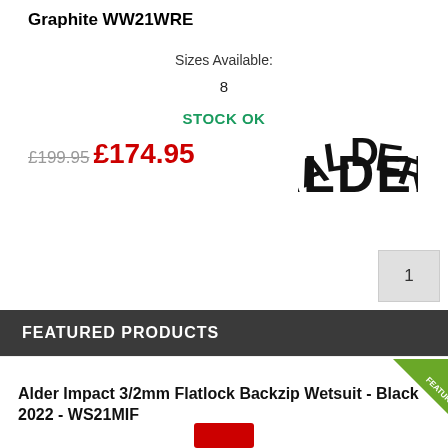Graphite WW21WRE
Sizes Available:
8
STOCK OK
£199.95 £174.95
[Figure (logo): ALDER brand logo in bold black arched lettering]
1
FEATURED PRODUCTS
Alder Impact 3/2mm Flatlock Backzip Wetsuit - Black 2022 - WS21MIF
[Figure (illustration): Green diagonal FEATURED ribbon badge in top-right corner of product card]